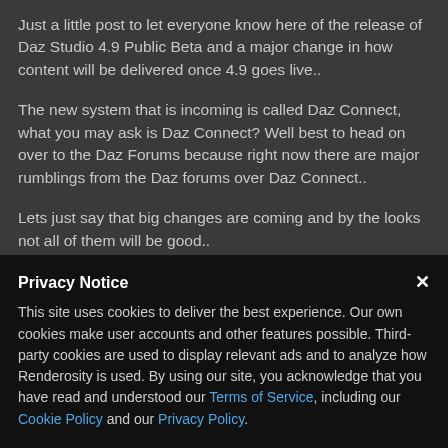Just a little post to let everyone know here of the release of Daz Studio 4.9 Public Beta and a major change in how content will be delivered once 4.9 goes live..
The new system that is incoming is called Daz Connect, what you may ask is Daz Connect? Well best to head on over to the Daz Forums because right now there are major rumblings from the Daz forums over Daz Connect..
Lets just say that big changes are coming and by the looks not all of them will be good..
Privacy Notice
This site uses cookies to deliver the best experience. Our own cookies make user accounts and other features possible. Third-party cookies are used to display relevant ads and to analyze how Renderosity is used. By using our site, you acknowledge that you have read and understood our Terms of Service, including our Cookie Policy and our Privacy Policy.